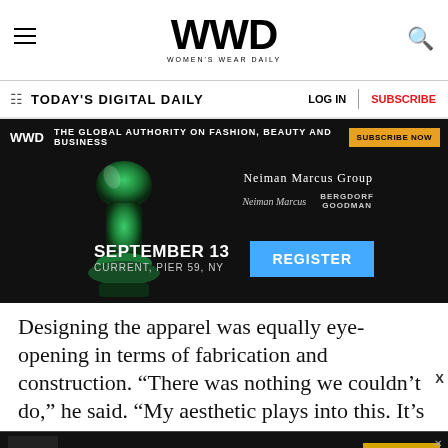WWD — Women's Wear Daily
TODAY'S DIGITAL DAILY   LOG IN   SUBSCRIBE
[Figure (advertisement): WWD banner ad: The Global Authority on Fashion, Beauty and Business — Subscribe Now. Below: Neiman Marcus Group ad with September 13, Current, Pier 59, NY and a Register button.]
Designing the apparel was equally eye-opening in terms of fabrication and construction. “There was nothing we couldn’t do,” he said. “My aesthetic plays into this. It’s not ornamented and there was a lot of print work. It has the same aesthetic as my
[Figure (advertisement): Bottom ad banner: Innovation In Online Returns — Download The Report. Logos: Farfetched Studio x Happy Returns.]